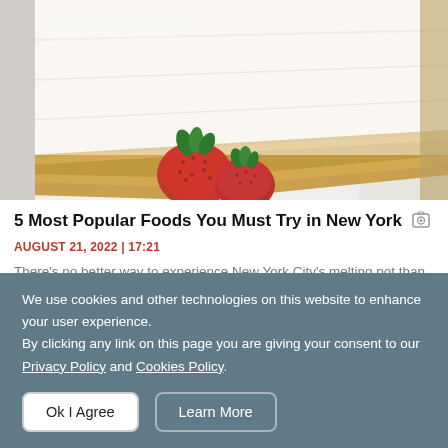[Figure (photo): Close-up photo of a slice of New York cheesecake with a graham cracker crust and two fresh strawberries on a white plate]
5 Most Popular Foods You Must Try in New York
AUGUST 21, 2022 | 17:21
There's no better way to experience New York City's melting pot than by digging into its food. If you love to eat, don't miss 5 must-try foods in New York below.
We use cookies and other technologies on this website to enhance your user experience. By clicking any link on this page you are giving your consent to our Privacy Policy and Cookies Policy.